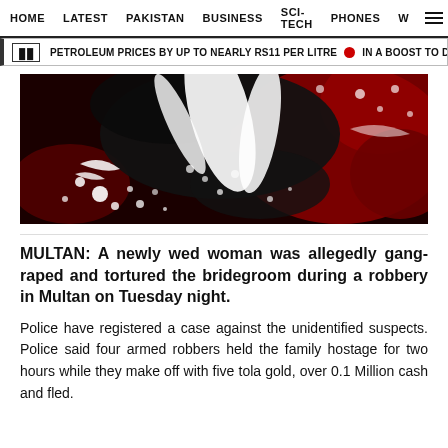HOME   LATEST   PAKISTAN   BUSINESS   SCI-TECH   PHONES   W  ☰
PETROLEUM PRICES BY UP TO NEARLY RS11 PER LITRE  •  IN A BOOST TO DWINDLI
[Figure (photo): Abstract red and black splatter art image with white paint splatters and brushstrokes on a dark red and black background.]
MULTAN: A newly wed woman was allegedly gang-raped and tortured the bridegroom during a robbery in Multan on Tuesday night.
Police have registered a case against the unidentified suspects. Police said four armed robbers held the family hostage for two hours while they make off with five tola gold, over 0.1 Million cash and fled.